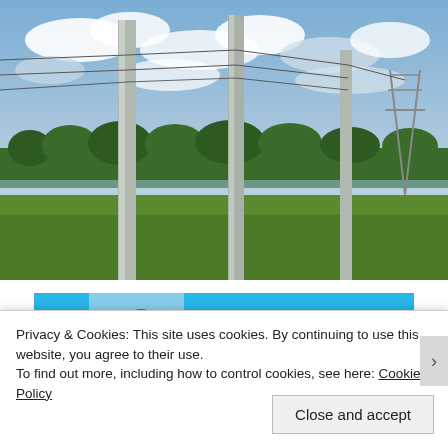[Figure (photo): Photograph of power transmission line poles and towers across a flat grassy landscape with a small pond or wetland area, trees in the background, and a cloudy sky.]
[Figure (screenshot): Thumbnail strip showing a blue UI panel on the left, a small photo thumbnail showing palm trees on a beach with a badge showing '05', and a larger blue panel on the right. Part of a website image gallery or slider.]
Privacy & Cookies: This site uses cookies. By continuing to use this website, you agree to their use.
To find out more, including how to control cookies, see here: Cookie Policy
Close and accept